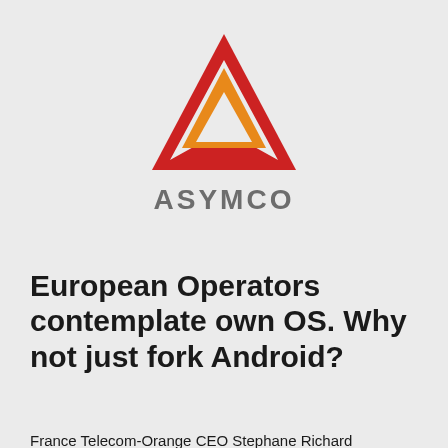[Figure (logo): Asymco logo: red triangle outline with orange inner chevron, and the word ASYMCO in bold grey letters below]
European Operators contemplate own OS. Why not just fork Android?
France Telecom-Orange CEO Stephane Richard